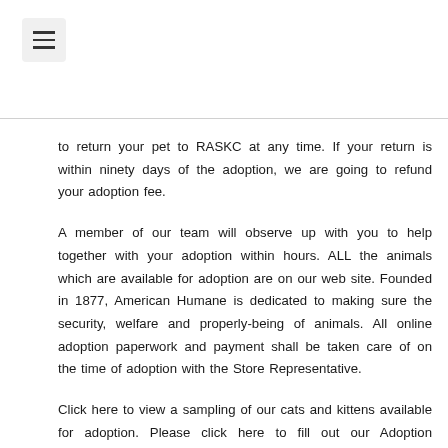≡
to return your pet to RASKC at any time. If your return is within ninety days of the adoption, we are going to refund your adoption fee.
A member of our team will observe up with you to help together with your adoption within hours. ALL the animals which are available for adoption are on our web site. Founded in 1877, American Humane is dedicated to making sure the security, welfare and properly-being of animals. All online adoption paperwork and payment shall be taken care of on the time of adoption with the Store Representative.
Click here to view a sampling of our cats and kittens available for adoption. Please click here to fill out our Adoption Application and considered one of our Adoption Counselors might be in contact to set up a phone appointment if we match a cat to your household. All shelter pets shall be despatched to pleased new properties on a primary come, first serve foundation. Please review the cats and